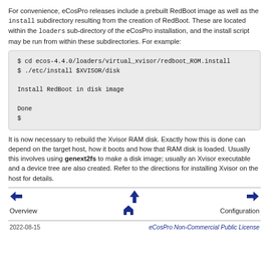For convenience, eCosPro releases include a prebuilt RedBoot image as well as the install subdirectory resulting from the creation of RedBoot. These are located within the loaders sub-directory of the eCosPro installation, and the install script may be run from within these subdirectories. For example:
$ cd ecos-4.4.0/loaders/virtual_xvisor/redboot_ROM.install
$ ./etc/install $XVISOR/disk

Install RedBoot in disk image

Done
$
It is now necessary to rebuild the Xvisor RAM disk. Exactly how this is done can depend on the target host, how it boots and how that RAM disk is loaded. Usually this involves using genext2fs to make a disk image; usually an Xvisor executable and a device tree are also created. Refer to the directions for installing Xvisor on the host for details.
Overview    Configuration
2022-08-15    eCosPro Non-Commercial Public License